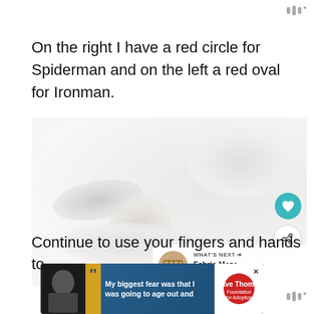|||°
On the right I have a red circle for Spiderman and on the left a red oval for Ironman.
[Figure (photo): A blurry close-up photo of small round objects (likely beads or buttons) on a light background, with teal heart and white share action buttons overlaid on the right side, and a 'What's Next' thumbnail banner in the lower right corner showing 'Fabric Maze Tutorial'.]
Continue to use your fingers and hands to
[Figure (infographic): Advertisement banner: 'My biggest fear was that I was going to age out and' with Dave Thomas Foundation for Adoption logo.]